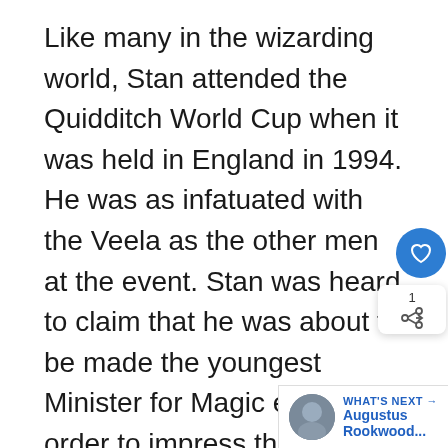Like many in the wizarding world, Stan attended the Quidditch World Cup when it was held in England in 1994. He was as infatuated with the Veela as the other men at the event. Stan was heard to claim that he was about to be made the youngest Minister for Magic ever in order to impress them.
Stan met Harry on the Knight Bus again when he and the Weasleys used the bus to return to Hogwarts in January 1996. While Harry was trying to conceal his identity, S[tan shouted] it out for all to hear. Nymphadora Tonks, who